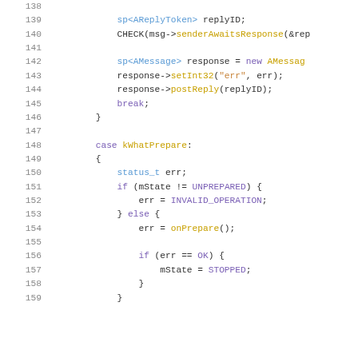[Figure (screenshot): Source code listing lines 138-159 in C++, showing code for handling AReplyToken, senderAwaitsResponse, AMessage response, setInt32, postReply, break, and case kWhatPrepare block with status_t, if/else conditions checking mState against UNPREPARED, setting INVALID_OPERATION or calling onPrepare(), and checking err == OK to set mState = STOPPED.]